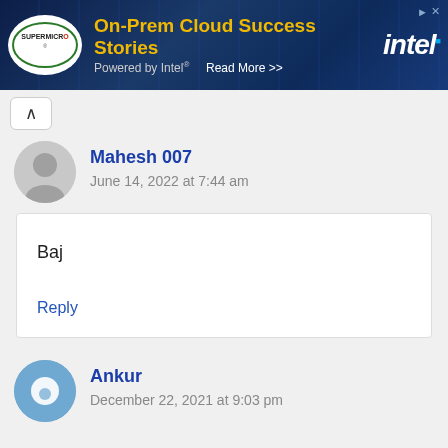[Figure (screenshot): Supermicro advertisement banner: 'On-Prem Cloud Success Stories Powered by Intel. Read More >>' with Intel logo on dark blue background]
Mahesh 007
June 14, 2022 at 7:44 am
Baj
Reply
Ankur
December 22, 2021 at 9:03 pm